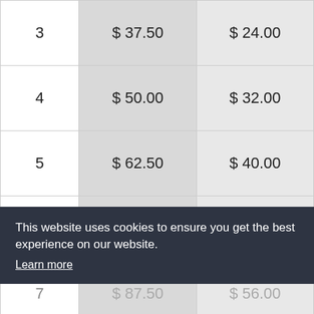| 3 | $ 37.50 | $ 24.00 |
| 4 | $ 50.00 | $ 32.00 |
| 5 | $ 62.50 | $ 40.00 |
| 6 | $ 75.00 | $ 48.00 |
| 7 | $ 87.50 | $ 56.00 |
| 8 | $ 100.00 | $ 64.00 |
This website uses cookies to ensure you get the best experience on our website. Learn more